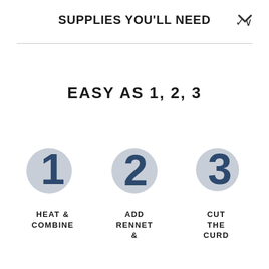SUPPLIES YOU'LL NEED
EASY AS 1, 2, 3
[Figure (infographic): Three numbered steps shown as large bold numerals (1, 2, 3) in dark navy blue on light grey circular blobs, arranged in a row]
HEAT & COMBINE
ADD RENNET &
CUT THE CURD